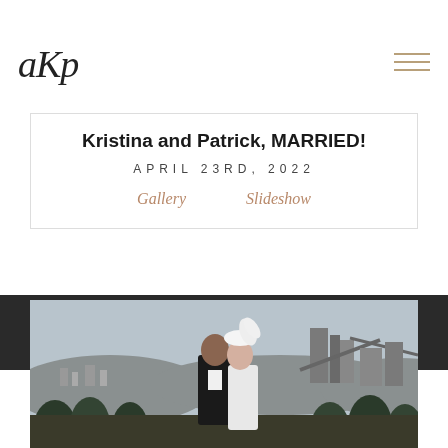[Figure (logo): AKP photography logo in italic script handwriting style]
Kristina and Patrick, MARRIED!
APRIL 23RD, 2022
Gallery    Slideshow
[Figure (photo): Wedding couple portrait outdoors with industrial skyline in background. Groom in black tuxedo, bride in white with decorative headpiece. Evergreen trees in foreground.]